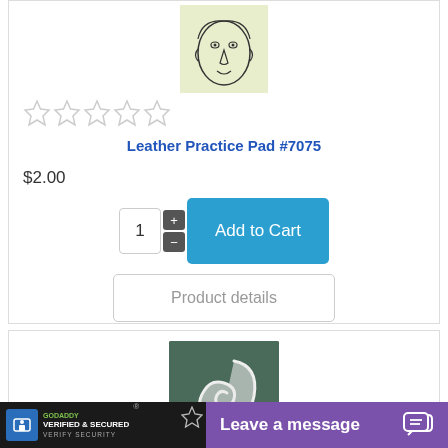[Figure (illustration): Line drawing of a human face on a light yellow-green background]
[Figure (other): Five empty star rating icons in a row]
Leather Practice Pad #7075
$2.00
[Figure (screenshot): Quantity selector showing 1 with plus/minus buttons and a blue Add to Cart button]
[Figure (screenshot): Product details button with rounded border]
[Figure (photo): White ear-shaped object on dark green background]
[Figure (logo): GoDaddy Verified and Secured badge on black background]
[Figure (screenshot): Purple Leave a message chat bar with chat icon]